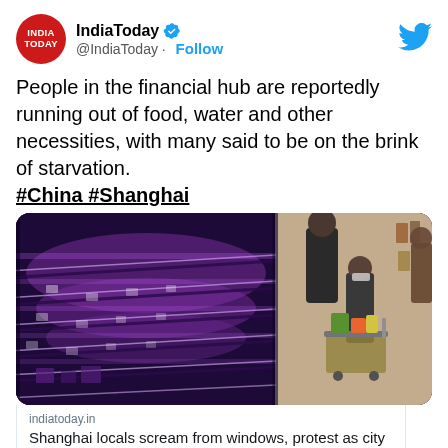[Figure (screenshot): Twitter/X post by IndiaToday (@IndiaToday) with Follow button and Twitter bird logo in header]
People in the financial hub are reportedly running out of food, water and other necessities, with many said to be on the brink of starvation. #China #Shanghai
[Figure (photo): Supermarket photo: left side shows empty shelves with purple/violet LED lighting, right side shows people with shopping carts loading groceries]
indiatoday.in
Shanghai locals scream from windows, protest as city faces food shortage amid Covid-19 crisis